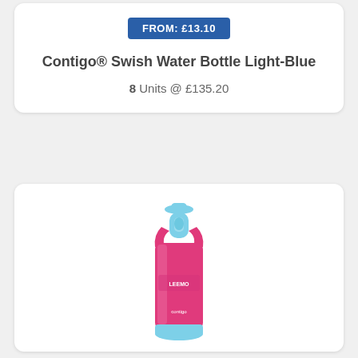FROM: £13.10
Contigo® Swish Water Bottle Light-Blue
8 Units @ £135.20
[Figure (photo): Pink/magenta Contigo Swish water bottle with light blue accents and cap, standing upright]